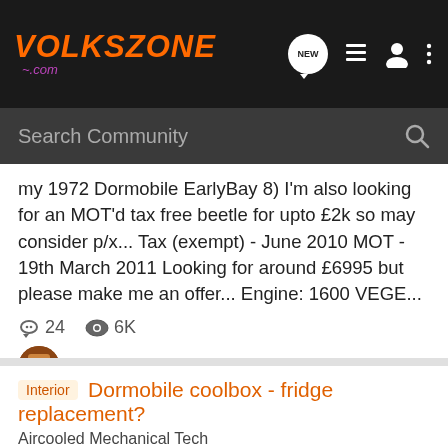Volkszone .com — navigation bar with NEW, list, user, and more icons
Search Community
my 1972 Dormobile EarlyBay 8) I'm also looking for an MOT'd tax free beetle for upto £2k so may consider p/x... Tax (exempt) - June 2010 MOT - 19th March 2011 Looking for around £6995 but please make me an offer... Engine: 1600 VEGE...
24  6K
Benyon · Mar 1, 2010
dormobile
early bay
for sale
mot
tax free
Dormobile coolbox - fridge replacement?
Aircooled Mechanical Tech
I have a Dormobile D4/6 interior which has a decent sized coolbox. Ideally I'd like to swap that coolbox for a 3-way